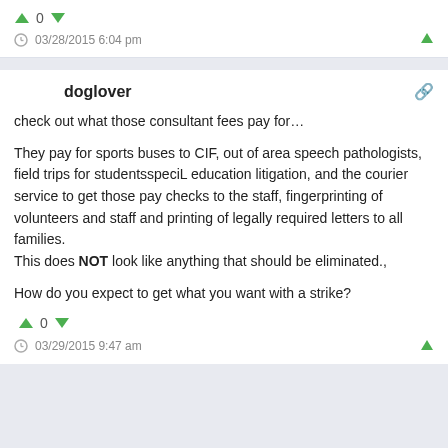0
03/28/2015 6:04 pm
doglover
check out what those consultant fees pay for…
They pay for sports buses to CIF, out of area speech pathologists, field trips for studentsspeciL education litigation, and the courier service to get those pay checks to the staff, fingerprinting of volunteers and staff and printing of legally required letters to all families.
This does NOT look like anything that should be eliminated.,
How do you expect to get what you want with a strike?
0
03/29/2015 9:47 am